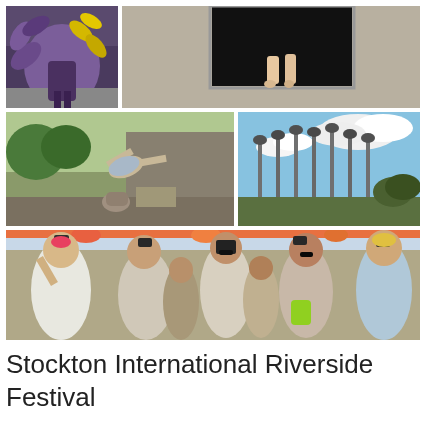[Figure (photo): Collage of five festival photographs: top-left shows a performer in colorful purple/yellow feathered costume; top-right shows bare feet in a window opening on a concrete wall; middle-left shows an acrobatic dance move outdoors; middle-right shows tall metal pole sculptures against a blue sky with clouds; bottom row shows a large group of people outdoors looking up and taking photos, wearing flowers and hats.]
Stockton International Riverside Festival